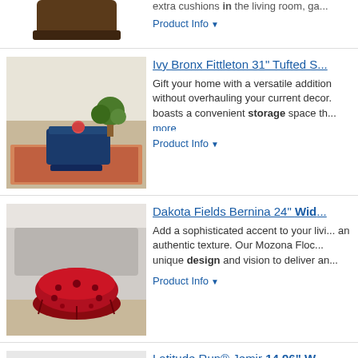extra cushions in the living room, ga...
Product Info
Ivy Bronx Fittleton 31" Tufted S...
Gift your home with a versatile addition without overhauling your current decor. boasts a convenient storage space th... more
Product Info
Dakota Fields Bernina 24" Wid...
Add a sophisticated accent to your livi... an authentic texture. Our Mozona Floc... unique design and vision to deliver an...
Product Info
Latitude Run® Jemir 14.96" W...
Hidden storage to reduce mess, the la... organizing bolster, books, toys, blanke... Run® Jemir 14.96" Wide Square Otto... 14.96 H x ... more
Product Info
Etta Avenue™ Moises 14.96" W...
Kick up your feet or have an extra sea... need to give your living room plenty of... engineered wood with a narrow gold-fi... more